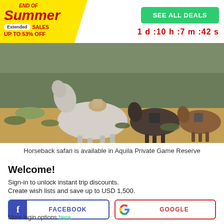END OF Summer — Extended SALES UP TO 53% OFF
SEE ALL DEALS
1 d : 10 h : 7 m : 42 s
[Figure (photo): Horseback riders on horses trekking through scrubland terrain at Aquila Private Game Reserve. A white/grey horse in the foreground, dark horse and brown horse in the background.]
Horseback safari is available in Aquila Private Game Reserve
Welcome!
Sign-in to unlock instant trip discounts.
Create wish lists and save up to USD 1,500.
FACEBOOK
GOOGLE
More login options here.